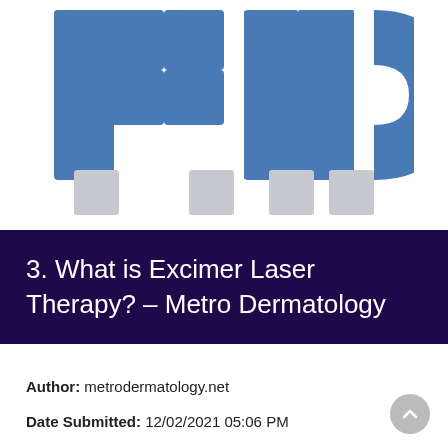[Figure (logo): PMC logo in blue and gray lettering, partially cropped at top]
3. What is Excimer Laser Therapy? – Metro Dermatology
Author: metrodermatology.net
Date Submitted: 12/02/2021 05:06 PM